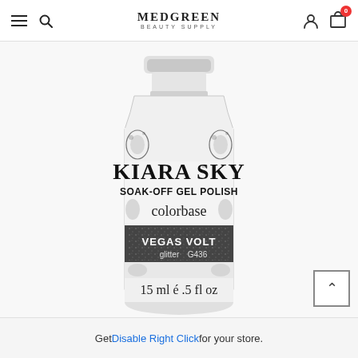MEDGREEN BEAUTY SUPPLY — navigation bar with hamburger menu, search, logo, user icon, cart (0)
[Figure (photo): Kiara Sky Soak-Off Gel Polish bottle, colorbase, Vegas Volt glitter G436, 15 ml / .5 fl oz, white bottle with black decorative label]
Get Disable Right Click for your store.